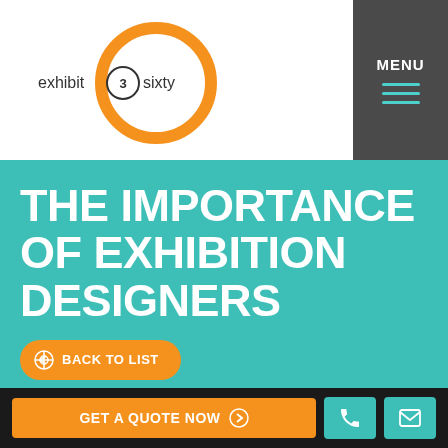[Figure (logo): Exhibit 3 Sixty logo with orange circle outline and black text]
[Figure (illustration): Dark grey menu button with MENU text and three teal horizontal lines]
THE IMPORTANCE OF EXHIBITION DESIGNERS
BACK TO LIST
[Figure (photo): Exhibition hall photo showing indoor expo space with green and orange displays]
GET A QUOTE NOW